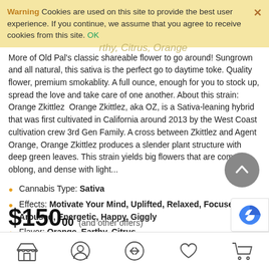Warning  Cookies are used on this site to provide the best user experience. If you continue, we assume that you agree to receive cookies from this site. OK
More of Old Pal’s classic shareable flower to go around! Sungrown and all natural, this sativa is the perfect go to daytime toke. Quality flower, premium smokablity. A full ounce, enough for you to stock up, spread the love and take care of one another. About this strain: Orange Zkittlez  Orange Zkittlez, aka OZ, is a Sativa-leaning hybrid that was first cultivated in California around 2013 by the West Coast cultivation crew 3rd Gen Family. A cross between Zkittlez and Agent Orange, Orange Zkittlez produces a slender plant structure with deep green leaves. This strain yields big flowers that are compact, oblong, and dense with light...
Cannabis Type: Sativa
Effects: Motivate Your Mind, Uplifted, Relaxed, Focused, Aroused, Energetic, Happy, Giggly
Flavor: Orange, Earthy, Citrus
Weight: 1oz
$15000 (and other offers)